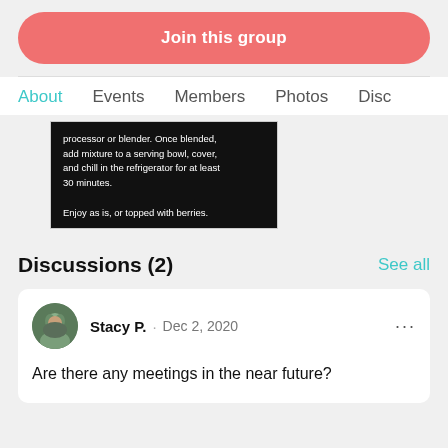Join this group
About  Events  Members  Photos  Disc
[Figure (photo): Black background image with white text: 'processor or blender. Once blended, add mixture to a serving bowl, cover, and chill in the refrigerator for at least 30 minutes. Enjoy as is, or topped with berries.']
Discussions (2)
See all
Stacy P. · Dec 2, 2020
Are there any meetings in the near future?